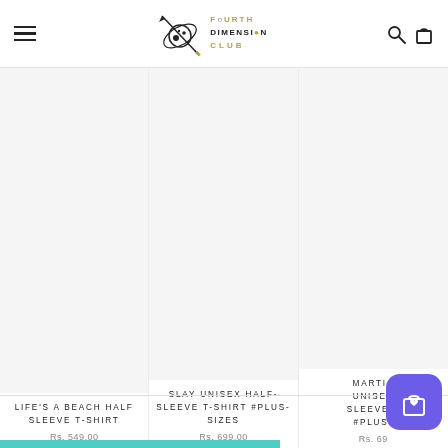[Figure (logo): Fourth Dimension Club logo — stylized planet/atom icon with sword, text reading FOURTH DIMENSION CLUB]
LIFE'S A BEACH HALF SLEEVE T-SHIRT
Rs. 549.00
SLAY UNISEX HALF-SLEEVE T-SHIRT #PLUS-SIZES
Rs. 699.00
MARTIA[N] UNISEX [HALF-] SLEEVE T[-SHIRT] #PLUS-
Rs. 69[9.00]